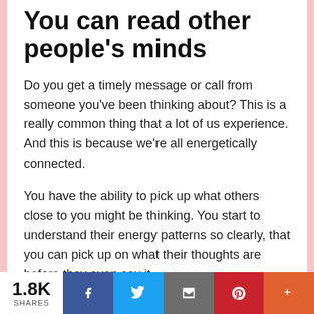You can read other people's minds
Do you get a timely message or call from someone you’ve been thinking about? This is a really common thing that a lot of us experience. And this is because we're all energetically connected.
You have the ability to pick up what others close to you might be thinking. You start to understand their energy patterns so clearly, that you can pick up on what their thoughts are before they even say it.
1.8K SHARES | Facebook | Twitter | Email | Pinterest | More